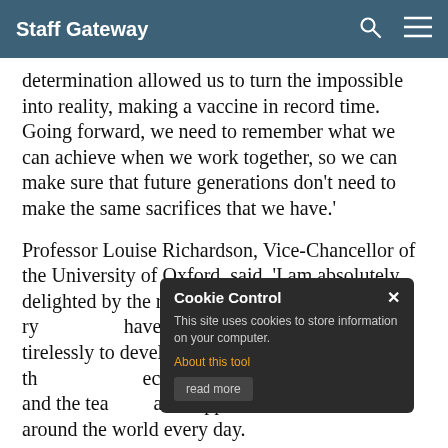Staff Gateway
determination allowed us to turn the impossible into reality, making a vaccine in record time. Going forward, we need to remember what we can achieve when we work together, so we can make sure that future generations don't need to make the same sacrifices that we have.'
Professor Louise Richardson, Vice-Chancellor of the University of Oxford, said, 'I am absolutely delighted by the recognition of our extraordinary [people who] have worked so creatively and so tirelessly to develop a vaccine, and the [vaccine to] protect us all from COVID-19. They and the teams that have supported them and [saved] lives around the world every day. [We are all deeply proud of the entire...